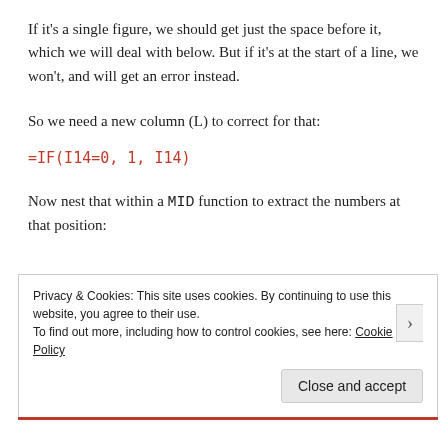If it's a single figure, we should get just the space before it, which we will deal with below. But if it's at the start of a line, we won't, and will get an error instead.
So we need a new column (L) to correct for that:
Now nest that within a MID function to extract the numbers at that position:
Privacy & Cookies: This site uses cookies. By continuing to use this website, you agree to their use.
To find out more, including how to control cookies, see here: Cookie Policy